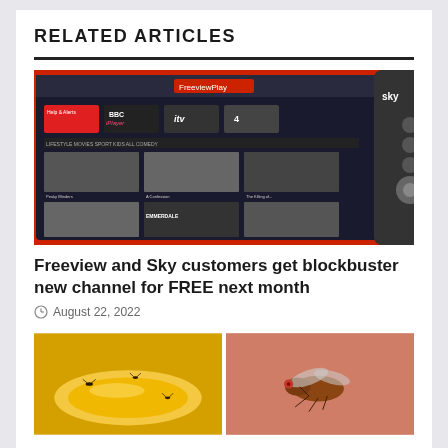RELATED ARTICLES
[Figure (photo): Freeview Play interface on a TV screen with a Sky remote control in the foreground, showing BBC iPlayer, ITV, Channel 4 and other streaming options]
Freeview and Sky customers get blockbuster new channel for FREE next month
August 22, 2022
[Figure (photo): Two side-by-side images: left shows small flies/gnats on a yellow surface, right shows a close-up of a fruit fly on a reddish surface]